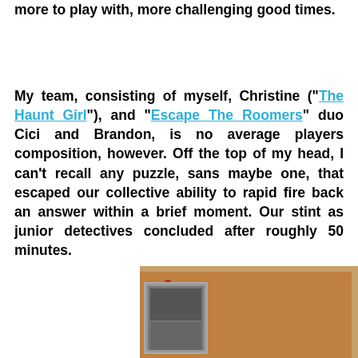more to play with, more challenging good times.
My team, consisting of myself, Christine ("The Haunt Girl"), and "Escape The Roomers" duo Cici and Brandon, is no average players composition, however. Off the top of my head, I can't recall any puzzle, sans maybe one, that escaped our collective ability to rapid fire back an answer within a brief moment. Our stint as junior detectives concluded after roughly 50 minutes.
[Figure (photo): A cork bulletin board with a wooden frame visible on the top and right edges, with a small photo pinned with a red thumbtack in the lower left area of the board.]